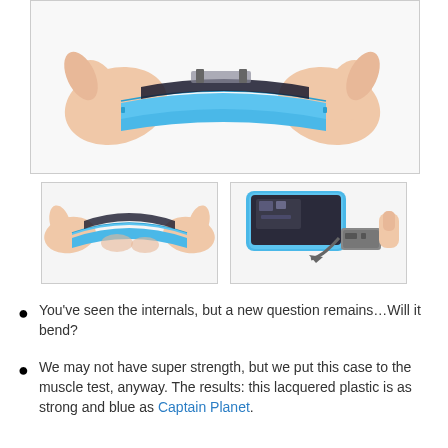[Figure (photo): Two hands bending/flexing a blue iPhone 5c, showing the phone being bent from both ends with thumbs pushing on the back of the device.]
[Figure (photo): Close-up of two hands bending the blue iPhone 5c plastic case, showing the flex.]
[Figure (photo): The iPhone 5c internal components visible with a cable/connector hanging out, showing the disassembled device.]
You've seen the internals, but a new question remains…Will it bend?
We may not have super strength, but we put this case to the muscle test, anyway. The results: this lacquered plastic is as strong and blue as Captain Planet.